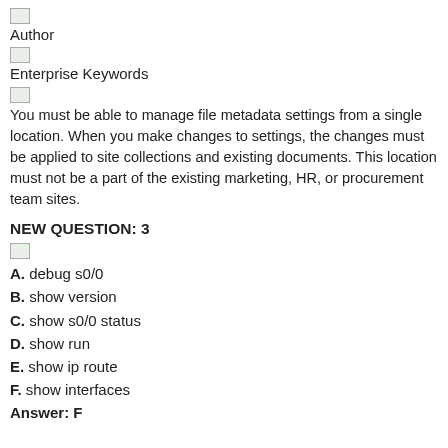[Figure (other): Small icon image placeholder (Author icon)]
Author
[Figure (other): Small icon image placeholder (Enterprise Keywords icon)]
Enterprise Keywords
[Figure (other): Small icon image placeholder]
You must be able to manage file metadata settings from a single location. When you make changes to settings, the changes must be applied to site collections and existing documents. This location must not be a part of the existing marketing, HR, or procurement team sites.
NEW QUESTION: 3
[Figure (other): Small icon image placeholder]
A. debug s0/0
B. show version
C. show s0/0 status
D. show run
E. show ip route
F. show interfaces
Answer: F